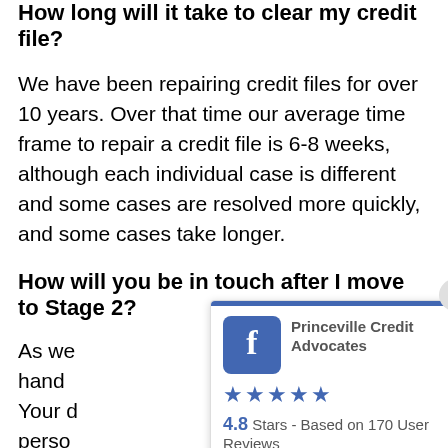How long will it take to clear my credit file?
We have been repairing credit files for over 10 years. Over that time our average time frame to repair a credit file is 6-8 weeks, although each individual case is different and some cases are resolved more quickly, and some cases take longer.
How will you be in touch after I move to Stage 2?
As we hand Your d perso
[Figure (other): Facebook popup widget showing Princeville Credit Advocates page with 4.8 stars rating based on 170 user reviews]
The specialist advocacy team will be in touch